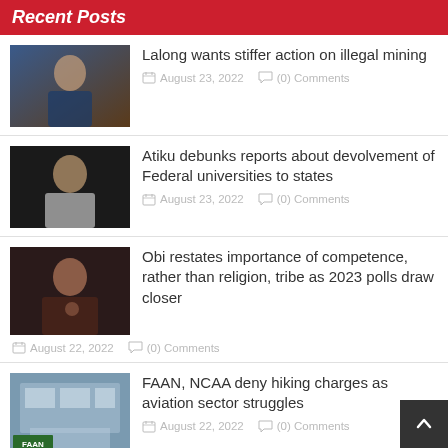Recent Posts
[Figure (photo): Photo of man in blue suit seated]
Lalong wants stiffer action on illegal mining
August 23, 2022   (0) Comments
[Figure (photo): Photo of man in white traditional attire]
Atiku debunks reports about devolvement of Federal universities to states
August 23, 2022   (0) Comments
[Figure (photo): Photo of man gesturing]
Obi restates importance of competence, rather than religion, tribe as 2023 polls draw closer
August 22, 2022   (0) Comments
[Figure (photo): FAAN building exterior with FAAN logo]
FAAN, NCAA deny hiking charges as aviation sector struggles
August 22, 2022   (0) Comments
[Figure (photo): Partial photo - fifth post thumbnail]
Atiku details plans to revamp education